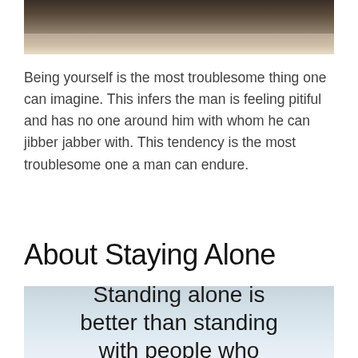[Figure (photo): Top portion of a photo showing a man sitting alone outdoors near water, cropped showing mainly dark clothing and a bright reflective surface below]
Being yourself is the most troublesome thing one can imagine. This infers the man is feeling pitiful and has no one around him with whom he can jibber jabber with. This tendency is the most troublesome one a man can endure.
About Staying Alone
[Figure (photo): Quote image with light blue-grey background showing text: Standing alone is better than standing with people who (cropped)]